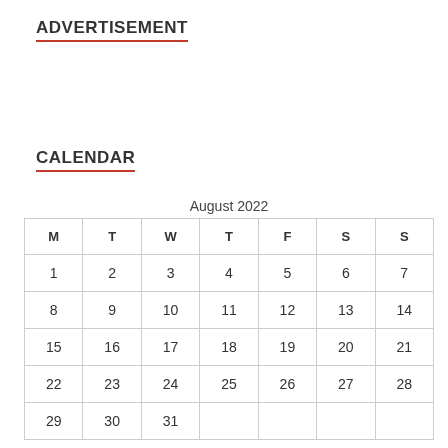ADVERTISEMENT
CALENDAR
| M | T | W | T | F | S | S |
| --- | --- | --- | --- | --- | --- | --- |
| 1 | 2 | 3 | 4 | 5 | 6 | 7 |
| 8 | 9 | 10 | 11 | 12 | 13 | 14 |
| 15 | 16 | 17 | 18 | 19 | 20 | 21 |
| 22 | 23 | 24 | 25 | 26 | 27 | 28 |
| 29 | 30 | 31 |  |  |  |  |